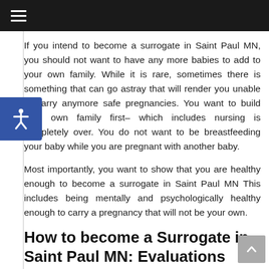If you intend to become a surrogate in Saint Paul MN, you should not want to have any more babies to add to your own family. While it is rare, sometimes there is something that can go astray that will render you unable to carry anymore safe pregnancies. You want to build your own family first– which includes nursing is completely over. You do not want to be breastfeeding your baby while you are pregnant with another baby.
Most importantly, you want to show that you are healthy enough to become a surrogate in Saint Paul MN This includes being mentally and psychologically healthy enough to carry a pregnancy that will not be your own.
How to become a Surrogate in Saint Paul MN: Evaluations